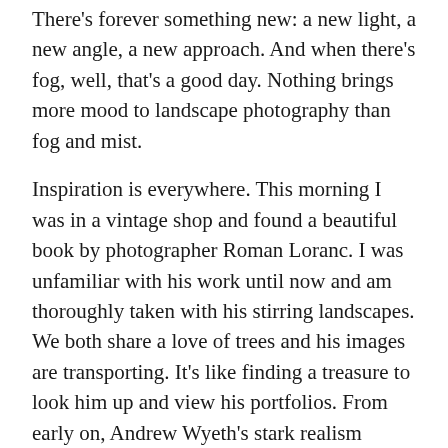There's forever something new: a new light, a new angle, a new approach. And when there's fog, well, that's a good day. Nothing brings more mood to landscape photography than fog and mist.
Inspiration is everywhere. This morning I was in a vintage shop and found a beautiful book by photographer Roman Loranc. I was unfamiliar with his work until now and am thoroughly taken with his stirring landscapes. We both share a love of trees and his images are transporting. It's like finding a treasure to look him up and view his portfolios. From early on, Andrew Wyeth's stark realism impressed me and caused me to begin painting. Somewhere in a closet, these paintings exist though I've lost track of them. I remember loving to paint November scenery in New England; it reminded me so much of Wyeth, with the brownfields and sense of melancholy. I still see his influence in my photos.